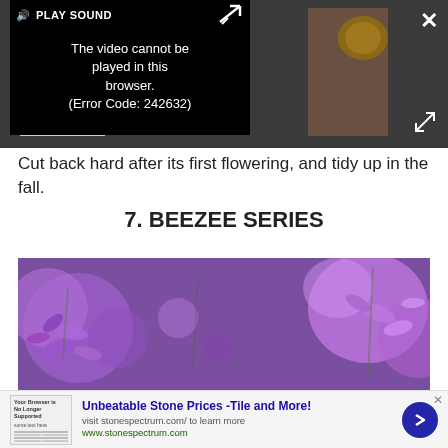[Figure (screenshot): Video player overlay on dark gray background showing error message 'The video cannot be played in this browser. (Error Code: 242632)' with PLAY SOUND button at top, close X button top right, expand button bottom right, and partial thumbnail images on left and right sides.]
Cut back hard after its first flowering, and tidy up in the fall.
7. BEEZEE SERIES
[Figure (photo): Close-up photo of purple lavender flowers with blurred bokeh background.]
[Figure (screenshot): Advertisement banner: Unbeatable Stone Prices -Tile and More! Visit stonespectrum.com/ to learn more. www.stonespectrum.com. Blue circle arrow button on right.]